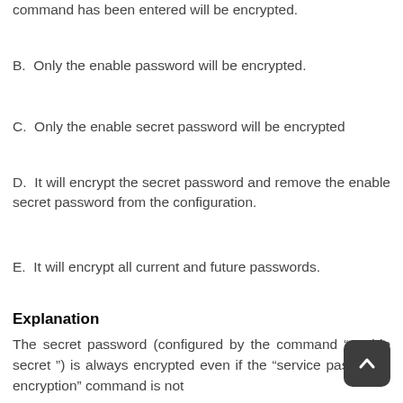A. Only passwords configured after the command has been entered will be encrypted.
B. Only the enable password will be encrypted.
C. Only the enable secret password will be encrypted
D. It will encrypt the secret password and remove the enable secret password from the configuration.
E. It will encrypt all current and future passwords.
Explanation
The secret password (configured by the command “enable secret ”) is always encrypted even if the “service password-encryption” command is not